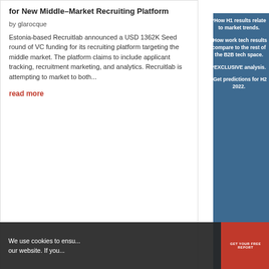for New Middle-Market Recruiting Platform
by glarocque
Estonia-based Recruitlab announced a USD 1362K Seed round of VC funding for its recruiting platform targeting the middle market. The platform claims to include applicant tracking, recruitment marketing, and analytics. Recruitlab is attempting to market to both...
read more
*How H1 results relate to market trends.
*How work tech results compare to the rest of the B2B tech space.
*EXCLUSIVE analysis.
*Get predictions for H2 2022.
[Figure (bar-chart): Bar chart with line overlay showing WorkTech data over time periods, red bars with black line]
We use cookies to ensure... our website. If you...
GET YOUR FREE REPORT